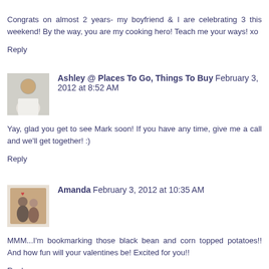Congrats on almost 2 years- my boyfriend & I are celebrating 3 this weekend! By the way, you are my cooking hero! Teach me your ways! xo
Reply
[Figure (photo): Avatar photo of Ashley, a person in a white shirt]
Ashley @ Places To Go, Things To Buy  February 3, 2012 at 8:52 AM
Yay, glad you get to see Mark soon! If you have any time, give me a call and we'll get together! :)
Reply
[Figure (photo): Avatar photo of Amanda showing a book cover with two people]
Amanda  February 3, 2012 at 10:35 AM
MMM...I'm bookmarking those black bean and corn topped potatoes!! And how fun will your valentines be! Excited for you!!
Reply